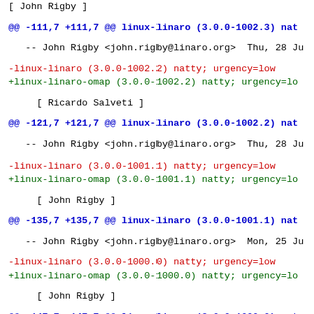[ John Rigby ]
@@ -111,7 +111,7 @@ linux-linaro (3.0.0-1002.3) nat
-- John Rigby <john.rigby@linaro.org>  Thu, 28 Ju
-linux-linaro (3.0.0-1002.2) natty; urgency=low
+linux-linaro-omap (3.0.0-1002.2) natty; urgency=lo
[ Ricardo Salveti ]
@@ -121,7 +121,7 @@ linux-linaro (3.0.0-1002.2) nat
-- John Rigby <john.rigby@linaro.org>  Thu, 28 Ju
-linux-linaro (3.0.0-1001.1) natty; urgency=low
+linux-linaro-omap (3.0.0-1001.1) natty; urgency=lo
[ John Rigby ]
@@ -135,7 +135,7 @@ linux-linaro (3.0.0-1001.1) nat
-- John Rigby <john.rigby@linaro.org>  Mon, 25 Ju
-linux-linaro (3.0.0-1000.0) natty; urgency=low
+linux-linaro-omap (3.0.0-1000.0) natty; urgency=lo
[ John Rigby ]
@@ -147,7 +147,7 @@ linux-linaro (3.0.0-1000.0) nat